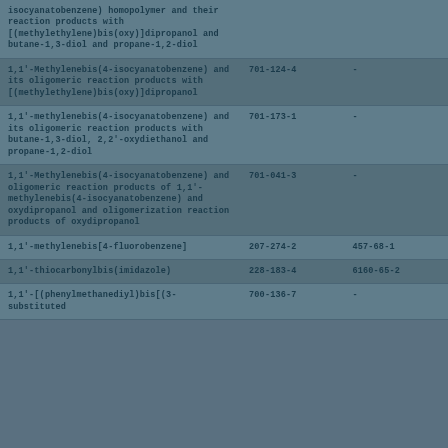| Substance | EC No. | CAS No. |
| --- | --- | --- |
| isocyanatobenzene) homopolymer and their reaction products with [(methylethylene)bis(oxy)]dipropanol and butane-1,3-diol and propane-1,2-diol |  |  |
| 1,1'-Methylenebis(4-isocyanatobenzene) and its oligomeric reaction products with [(methylethylene)bis(oxy)]dipropanol | 701-124-4 | - |
| 1,1'-methylenebis(4-isocyanatobenzene) and its oligomeric reaction products with butane-1,3-diol, 2,2'-oxydiethanol and propane-1,2-diol | 701-173-1 | - |
| 1,1'-Methylenebis(4-isocyanatobenzene) and oligomeric reaction products of 1,1'-methylenebis(4-isocyanatobenzene) and oxydipropanol and oligomerization reaction products of oxydipropanol | 701-041-3 | - |
| 1,1'-methylenebis[4-fluorobenzene] | 207-274-2 | 457-68-1 |
| 1,1'-thiocarbonylbis(imidazole) | 228-183-4 | 6160-65-2 |
| 1,1'-[(phenylmethanediyl)bis[(3-substituted | 700-136-7 | - |